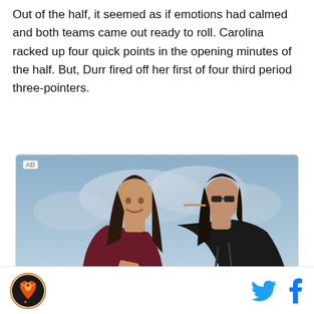Out of the half, it seemed as if emotions had calmed and both teams came out ready to roll. Carolina racked up four quick points in the opening minutes of the half. But, Durr fired off her first of four third period three-pointers.
[Figure (photo): Advertisement image showing two women in athletic wear against a sky background, one whispering to the other who is smiling. One wears burgundy/dark red outfit, the other wears black.]
[Figure (logo): Sports website logo — circular orange/red logo with a bird/phoenix graphic]